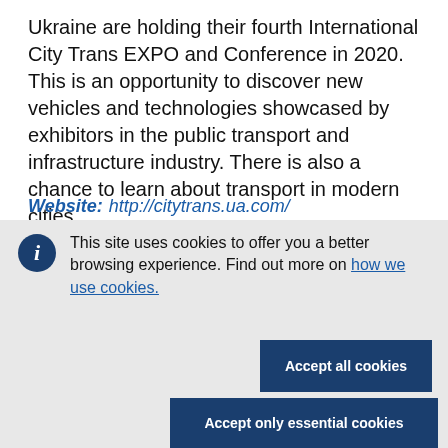Ukraine are holding their fourth International City Trans EXPO and Conference in 2020. This is an opportunity to discover new vehicles and technologies showcased by exhibitors in the public transport and infrastructure industry. There is also a chance to learn about transport in modern cities
Website:   http://citytrans.ua.com/
This site uses cookies to offer you a better browsing experience. Find out more on how we use cookies.
Accept all cookies
Accept only essential cookies